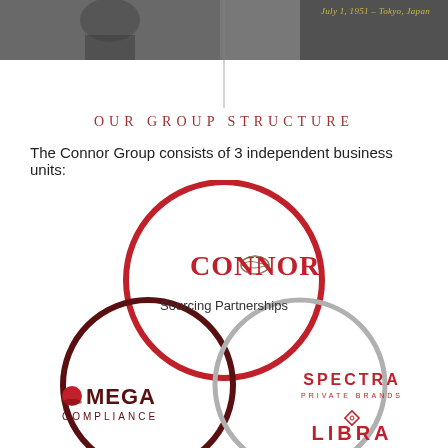[Figure (photo): Black and white photograph at top of page with italic text overlay reading 'July 1, 1951 - Tokyo, Japan']
OUR GROUP STRUCTURE
The Connor Group consists of 3 independent business units:
[Figure (infographic): Venn diagram showing three overlapping circles representing three business units: Connor Sourcing Partnerships (top, red circle), Omega Compliance (bottom-left, dark red circle), and Spectra Private Brands / Libra (bottom-right, gray circle). The Connor logo with stylized globe icon appears in the top circle, the Omega Compliance logo appears in the bottom-left, and SPECTRA PRIVATE BRANDS and LIBRA logos appear in the bottom-right area.]